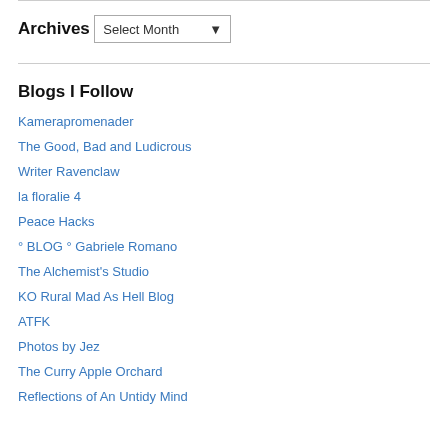Archives
Select Month
Blogs I Follow
Kamerapromenader
The Good, Bad and Ludicrous
Writer Ravenclaw
la floralie 4
Peace Hacks
° BLOG ° Gabriele Romano
The Alchemist's Studio
KO Rural Mad As Hell Blog
ATFK
Photos by Jez
The Curry Apple Orchard
Reflections of An Untidy Mind